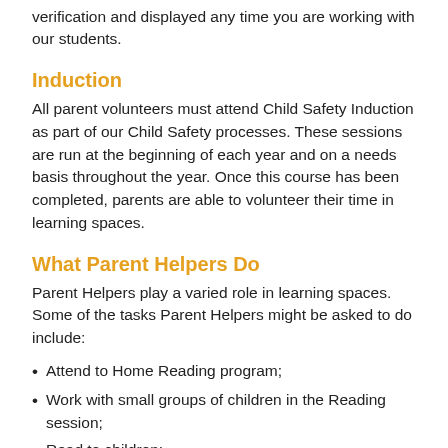verification and displayed any time you are working with our students.
Induction
All parent volunteers must attend Child Safety Induction as part of our Child Safety processes. These sessions are run at the beginning of each year and on a needs basis throughout the year. Once this course has been completed, parents are able to volunteer their time in learning spaces.
What Parent Helpers Do
Parent Helpers play a varied role in learning spaces. Some of the tasks Parent Helpers might be asked to do include:
Attend to Home Reading program;
Work with small groups of children in the Reading session;
Read to children;
Model good speaking and listening skills;